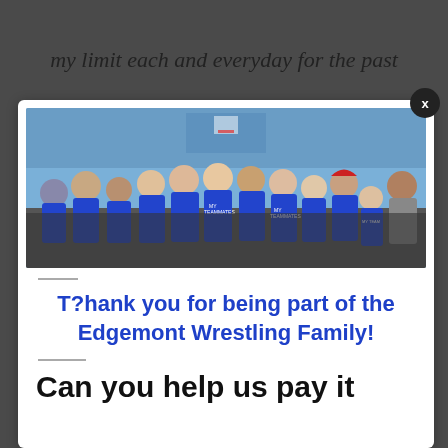my limit each and everyday for the past
[Figure (photo): Group photo of the Edgemont Wrestling team wearing blue 'I Love My Teammates' shirts in a gymnasium]
T?hank you for being part of the Edgemont Wrestling Family!
Can you help us pay it